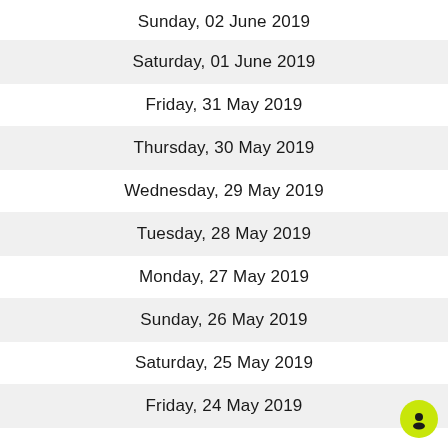Sunday, 02 June 2019
Saturday, 01 June 2019
Friday, 31 May 2019
Thursday, 30 May 2019
Wednesday, 29 May 2019
Tuesday, 28 May 2019
Monday, 27 May 2019
Sunday, 26 May 2019
Saturday, 25 May 2019
Friday, 24 May 2019